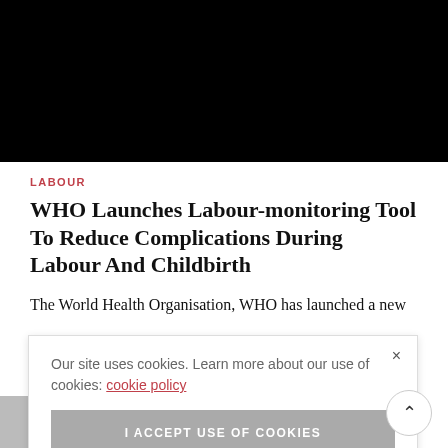[Figure (photo): Black rectangle representing a video or image placeholder at the top of the article page]
LABOUR
WHO Launches Labour-monitoring Tool To Reduce Complications During Labour And Childbirth
The World Health Organisation, WHO has launched a new
Our site uses cookies. Learn more about our use of cookies: cookie policy
I ACCEPT USE OF COOKIES